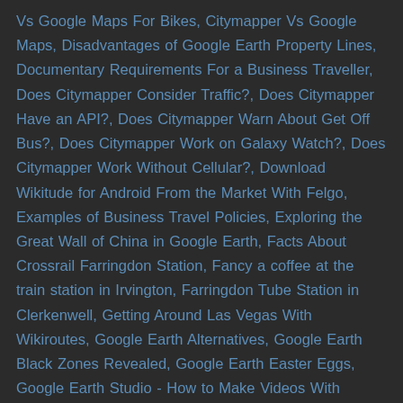Vs Google Maps For Bikes, Citymapper Vs Google Maps, Disadvantages of Google Earth Property Lines, Documentary Requirements For a Business Traveller, Does Citymapper Consider Traffic?, Does Citymapper Have an API?, Does Citymapper Warn About Get Off Bus?, Does Citymapper Work on Galaxy Watch?, Does Citymapper Work Without Cellular?, Download Wikitude for Android From the Market With Felgo, Examples of Business Travel Policies, Exploring the Great Wall of China in Google Earth, Facts About Crossrail Farringdon Station, Fancy a coffee at the train station in Irvington, Farringdon Tube Station in Clerkenwell, Getting Around Las Vegas With Wikiroutes, Google Earth Alternatives, Google Earth Black Zones Revealed, Google Earth Easter Eggs, Google Earth Studio - How to Make Videos With Google Earth, Google Earth Vs Google Maps, Google Maps Easter Eggs 2021, Google Maps Easter Eggs 2022, Google Maps Easter Eggs, Google Maps - New Location Sharing, Google Maps New York Vs Citymapper, Google Maps of Grand Central Station New York, Google Maps Paris - Benefits For Wheelchair Users, Google Maps Property Lines, Google Maps Timeline - How to Change and Delete Dates, Google Maps Truck Route, Google Street View Cars, Google Street View in Germany, Hadrian's Wall Walk Route Planner, HGV Route Planner Webfleet Solutions, Hidden on Google Earth - Secrets